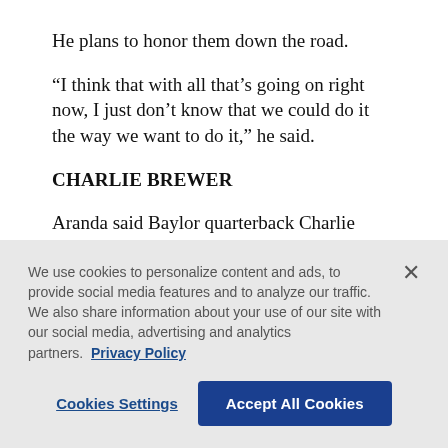He plans to honor them down the road.
“I think that with all that’s going on right now, I just don’t know that we could do it the way we want to do it,” he said.
CHARLIE BREWER
Aranda said Baylor quarterback Charlie Brewer has been better since the Bears simplified the game for him. Brewer passed for 349 yards and two touchdowns and a performance in the win over Kansas Stat…
We use cookies to personalize content and ads, to provide social media features and to analyze our traffic. We also share information about your use of our site with our social media, advertising and analytics partners. Privacy Policy
Cookies Settings
Accept All Cookies